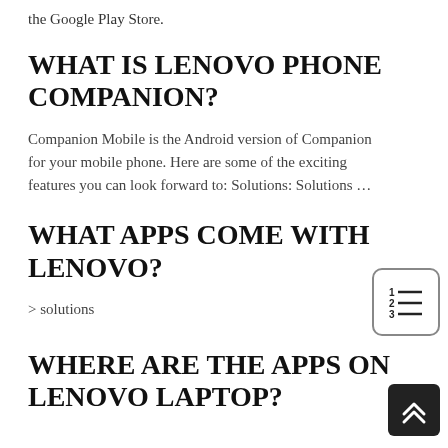the Google Play Store.
WHAT IS LENOVO PHONE COMPANION?
Companion Mobile is the Android version of Companion for your mobile phone. Here are some of the exciting features you can look forward to: Solutions: Solutions …
WHAT APPS COME WITH LENOVO?
> solutions
WHERE ARE THE APPS ON LENOVO LAPTOP?